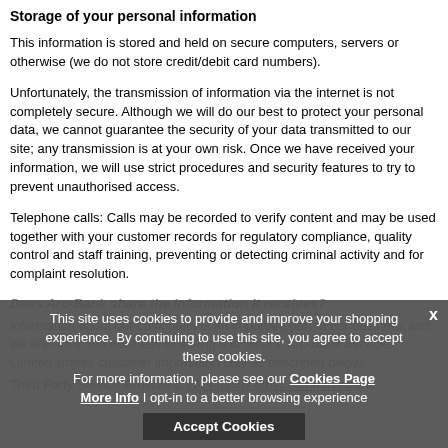Storage of your personal information
This information is stored and held on secure computers, servers or otherwise (we do not store credit/debit card numbers).
Unfortunately, the transmission of information via the internet is not completely secure. Although we will do our best to protect your personal data, we cannot guarantee the security of your data transmitted to our site; any transmission is at your own risk. Once we have received your information, we will use strict procedures and security features to try to prevent unauthorised access.
Telephone calls: Calls may be recorded to verify content and may be used together with your customer records for regulatory compliance, quality control and staff training, preventing or detecting criminal activity and for complaint resolution.
Does Arc-Bank share the information it receives?
Information about our customers is an important part of our business and we are not in the business of selling it to others. Arc-Bank Services Limited shares customer information only as described below:
Third Party Service Providers: We employ other companies and
This site uses cookies to provide and improve your shopping experience. By continuing to use this site, you agree to accept these cookies.
For more information, please see our Cookies Page
More Info | opt-in to a better browsing experience
Accept Cookies